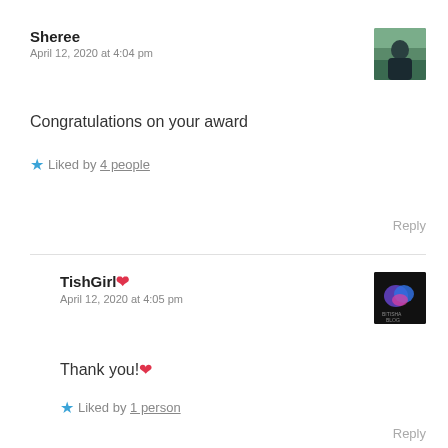Sheree
April 12, 2020 at 4:04 pm
Congratulations on your award
Liked by 4 people
Reply
TishGirl ❤
April 12, 2020 at 4:05 pm
Thank you! ❤
Liked by 1 person
Reply